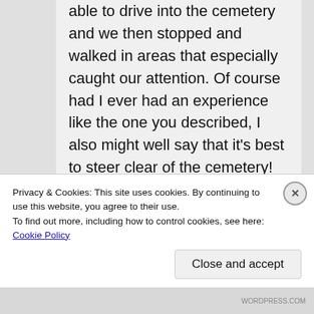able to drive into the cemetery and we then stopped and walked in areas that especially caught our attention. Of course had I ever had an experience like the one you described, I also might well say that it's best to steer clear of the cemetery!
★ Like
Reply
Privacy & Cookies: This site uses cookies. By continuing to use this website, you agree to their use.
To find out more, including how to control cookies, see here: Cookie Policy
Close and accept
WORDPRESS.COM